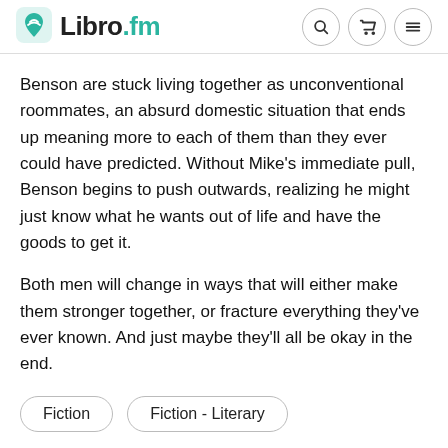Libro.fm
Benson are stuck living together as unconventional roommates, an absurd domestic situation that ends up meaning more to each of them than they ever could have predicted. Without Mike's immediate pull, Benson begins to push outwards, realizing he might just know what he wants out of life and have the goods to get it.
Both men will change in ways that will either make them stronger together, or fracture everything they've ever known. And just maybe they'll all be okay in the end.
Fiction
Fiction - Literary